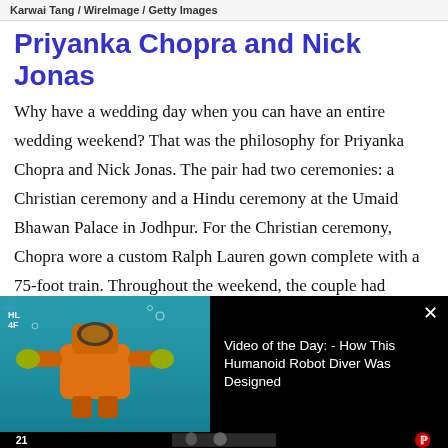Karwai Tang / WireImage / Getty Images
Priyanka Chopra and Nick Jonas
Why have a wedding day when you can have an entire wedding weekend? That was the philosophy for Priyanka Chopra and Nick Jonas. The pair had two ceremonies: a Christian ceremony and a Hindu ceremony at the Umaid Bhawan Palace in Jodhpur. For the Christian ceremony, Chopra wore a custom Ralph Lauren gown complete with a 75-foot train. Throughout the weekend, the couple had multiple receptions and events. They even booked an entire
[Figure (screenshot): Video overlay showing an orange humanoid robot diver underwater with teal/blue water background. Right side shows black panel with video title text and close button.]
Video of the Day: - How This Humanoid Robot Diver Was Designed
[Figure (photo): Bottom strip showing number 21 and a partial photo of two people at what appears to be an event, with a Pinterest icon on the right.]